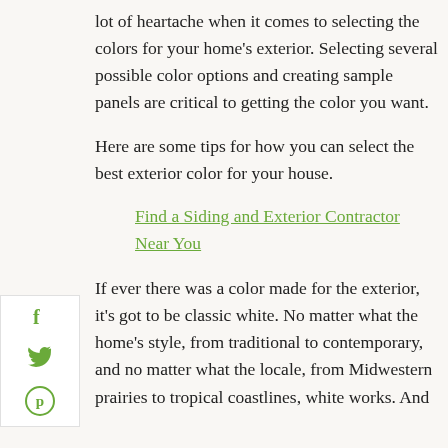lot of heartache when it comes to selecting the colors for your home’s exterior. Selecting several possible color options and creating sample panels are critical to getting the color you want.
Here are some tips for how you can select the best exterior color for your house.
Find a Siding and Exterior Contractor Near You
If ever there was a color made for the exterior, it’s got to be classic white. No matter what the home’s style, from traditional to contemporary, and no matter what the locale, from Midwestern prairies to tropical coastlines, white works. And